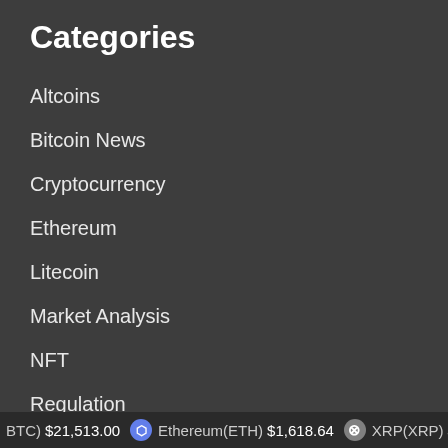Categories
Altcoins
Bitcoin News
Cryptocurrency
Ethereum
Litecoin
Market Analysis
NFT
Regulation
XRP
BTC) $21,513.00  Ethereum(ETH) $1,618.64  XRP(XRP) $0.3